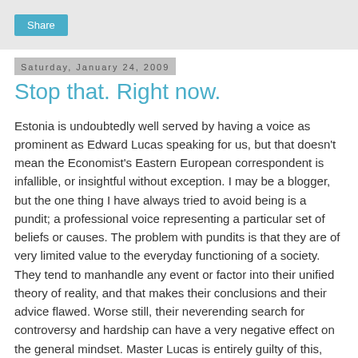[Figure (other): Share button in a light gray top bar]
Saturday, January 24, 2009
Stop that. Right now.
Estonia is undoubtedly well served by having a voice as prominent as Edward Lucas speaking for us, but that doesn't mean the Economist's Eastern European correspondent is infallible, or insightful without exception. I may be a blogger, but the one thing I have always tried to avoid being is a pundit; a professional voice representing a particular set of beliefs or causes. The problem with pundits is that they are of very limited value to the everyday functioning of a society. They tend to manhandle any event or factor into their unified theory of reality, and that makes their conclusions and their advice flawed. Worse still, their neverending search for controversy and hardship can have a very negative effect on the general mindset. Master Lucas is entirely guilty of this, even if he is our bastard.
So, to the problem at hand, and it is a Edward Lucas...